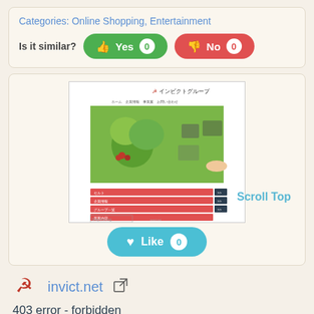Categories: Online Shopping, Entertainment
Is it similar?  Yes 0  No 0
[Figure (screenshot): Screenshot of invict.net website showing Japanese text header with logo, a flower/plant hero image, and red navigation menu bars with arrows. Siteprice.org watermark visible.]
Scroll Top
Like 0
invict.net
403 error - forbidden